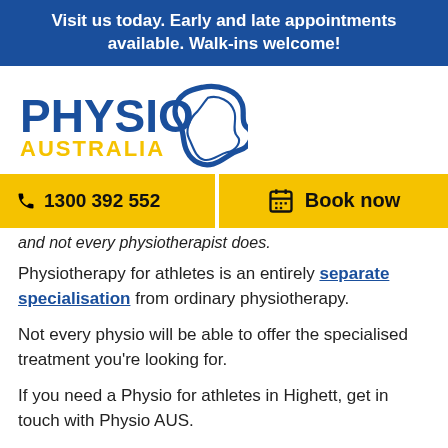Visit us today. Early and late appointments available. Walk-ins welcome!
[Figure (logo): Physio Australia logo with blue text PHYSIO and orange text AUSTRALIA, with a blue kangaroo-shaped map icon]
1300 392 552
Book now
and not every physiotherapist does.
Physiotherapy for athletes is an entirely separate specialisation from ordinary physiotherapy.
Not every physio will be able to offer the specialised treatment you're looking for.
If you need a Physio for athletes in Highett, get in touch with Physio AUS.